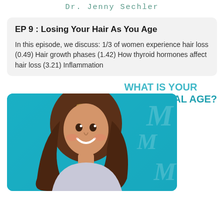Dr. Jenny Sechler
EP 9 : Losing Your Hair As You Age
In this episode, we discuss: 1/3 of women experience hair loss (0.49) Hair growth phases (1.42) How thyroid hormones affect hair loss (3.21) Inflammation
[Figure (photo): Promotional graphic showing a smiling woman with long wavy brown hair on a teal/cyan background, with text overlay reading 'WHAT IS YOUR BIOLOGICAL AGE?']